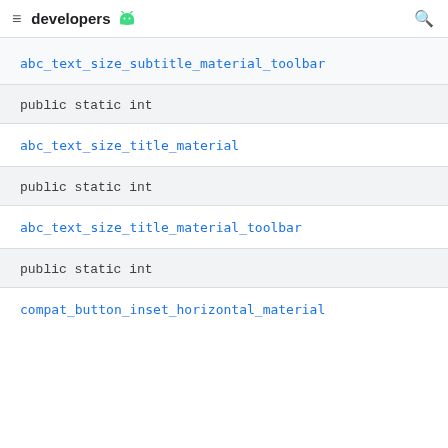≡ developers 🤖 🔍
abc_text_size_subtitle_material_toolbar
public static int
abc_text_size_title_material
public static int
abc_text_size_title_material_toolbar
public static int
compat_button_inset_horizontal_material